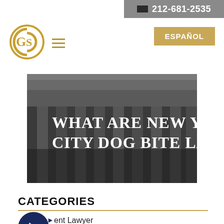212-681-2535
[Figure (logo): Circular gold logo with letters G and S interlinked]
ESPAÑOL
[Figure (photo): Black and white photo of a neoclassical courthouse with columns, overlaid with bold white text: WHAT ARE NEW YORK CITY DOG BITE LAWS?]
CATEGORIES
ent Lawyer
Animal Attacks